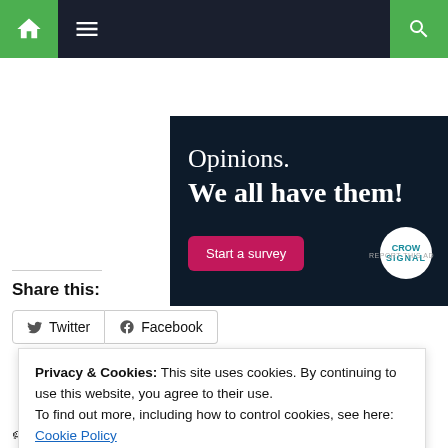Navigation bar with home, menu, and search icons
[Figure (screenshot): Advertisement banner: dark navy background with text 'Opinions. We all have them!' and a pink 'Start a survey' button and Crowdsignal logo circle]
REPORT THIS AD
Share this:
Twitter  Facebook (share buttons)
Privacy & Cookies: This site uses cookies. By continuing to use this website, you agree to their use.
To find out more, including how to control cookies, see here:
Cookie Policy
Close and accept
Tagged invasion, Russia, Ukraine, war